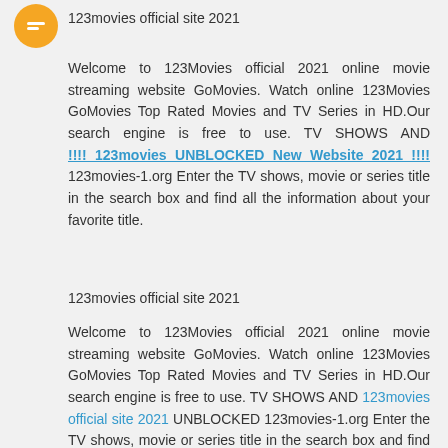[Figure (logo): Orange circle Blogger icon]
123movies official site 2021
Welcome to 123Movies official 2021 online movie streaming website GoMovies. Watch online 123Movies GoMovies Top Rated Movies and TV Series in HD.Our search engine is free to use. TV SHOWS AND !!!! 123movies UNBLOCKED New Website 2021 !!!! 123movies-1.org Enter the TV shows, movie or series title in the search box and find all the information about your favorite title.
123movies official site 2021
Welcome to 123Movies official 2021 online movie streaming website GoMovies. Watch online 123Movies GoMovies Top Rated Movies and TV Series in HD.Our search engine is free to use. TV SHOWS AND 123movies official site 2021 UNBLOCKED 123movies-1.org Enter the TV shows, movie or series title in the search box and find all the information about your favorite title.